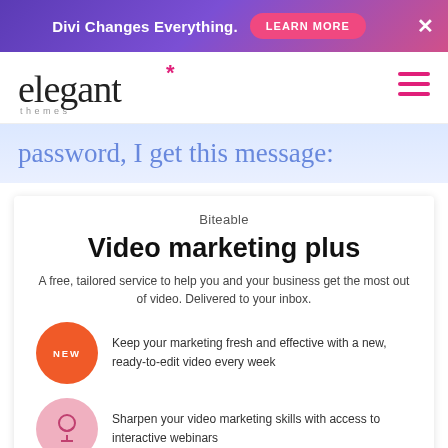Divi Changes Everything. LEARN MORE ×
[Figure (logo): Elegant Themes logo with asterisk and hamburger menu]
password, I get this message:
Biteable
Video marketing plus
A free, tailored service to help you and your business get the most out of video. Delivered to your inbox.
Keep your marketing fresh and effective with a new, ready-to-edit video every week
Sharpen your video marketing skills with access to interactive webinars